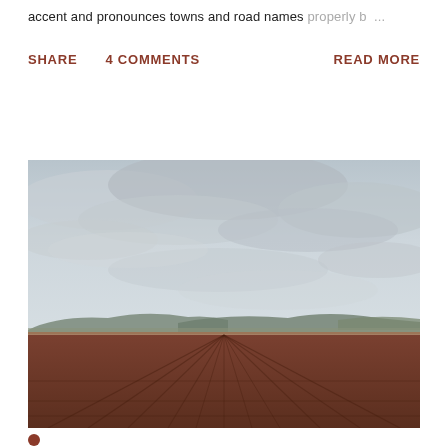accent and pronounces towns and road names properly b ...
SHARE   4 COMMENTS   READ MORE
[Figure (photo): Landscape photograph showing a wide open agricultural field with rows of dark reddish-brown plowed earth in the foreground, flat terrain with low mesa or hill formations in the middle distance, and a broad overcast sky with grey clouds filling the upper portion of the image.]